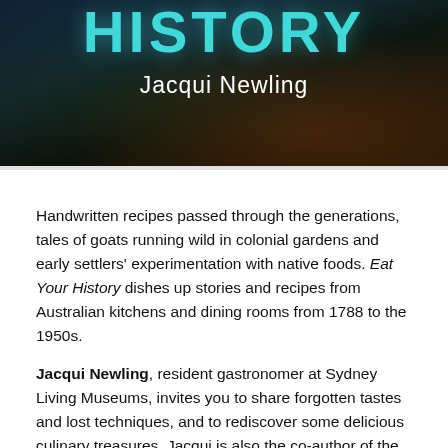[Figure (photo): Book cover image for 'Eat Your History' by Jacqui Newling, with teal/cyan title text and white author name on a dark background with kitchen imagery]
Handwritten recipes passed through the generations, tales of goats running wild in colonial gardens and early settlers' experimentation with native foods. Eat Your History dishes up stories and recipes from Australian kitchens and dining rooms from 1788 to the 1950s.
Jacqui Newling, resident gastronomer at Sydney Living Museums, invites you to share forgotten tastes and lost techniques, and to rediscover some delicious culinary treasures. Jacqui is also the co-author of the wonderful blog The Cook and the Curator.
About the author:
Jacqui Newling brings ten years of 'visitor first'